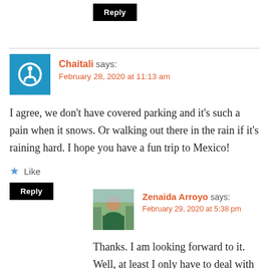Reply
Chaitali says: February 28, 2020 at 11:13 am
I agree, we don't have covered parking and it's such a pain when it snows. Or walking out there in the rain if it's raining hard. I hope you have a fun trip to Mexico!
Like
Reply
Zenaida Arroyo says: February 29, 2020 at 5:38 pm
Thanks. I am looking forward to it. Well, at least I only have to deal with it when it snows, which hasn't been that much this winter. Rain is the